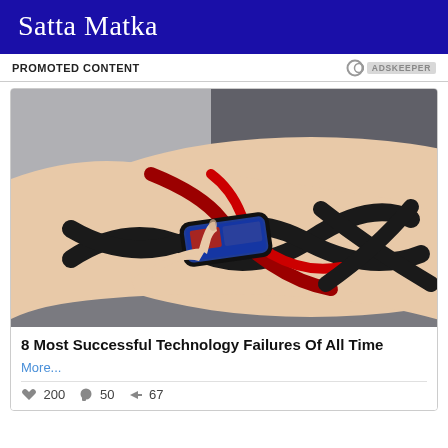Satta Matka
PROMOTED CONTENT
[Figure (photo): A futuristic concept image showing a human forearm with tribal/geometric tattoos in black and red, and a small embedded touchscreen device on the wrist being tapped by a finger. The background shows a gray futuristic surface.]
8 Most Successful Technology Failures Of All Time
More...
200  50  67